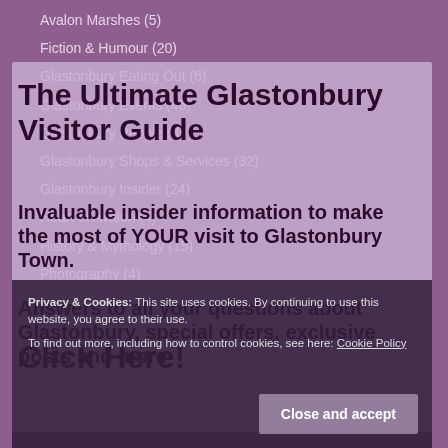Avalon Marshes (5)
Fiction & Humour (20)
Glastonbury Eating Out (6)
Glastonbury Events (46)
Glastonbury People (49)
Glastonbury Shops & Services (32)
Glastonbury Insider (24)
Heart of Avalon (4)
History & Mythology (15)
Photography (4)
The Ultimate Glastonbury Visitor Guide
Invaluable insider information to make the most of YOUR visit to Glastonbury Town.
Answers to all your questions about Glastonbury, special offers, exclusive posts and more
Click Here!
Privacy & Cookies: This site uses cookies. By continuing to use this website, you agree to their use.
To find out more, including how to control cookies, see here: Cookie Policy
Close and accept